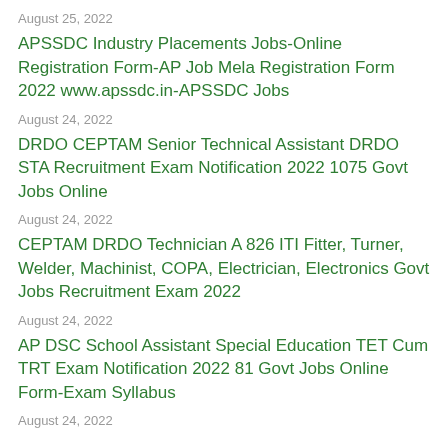August 25, 2022
APSSDC Industry Placements Jobs-Online Registration Form-AP Job Mela Registration Form 2022 www.apssdc.in-APSSDC Jobs
August 24, 2022
DRDO CEPTAM Senior Technical Assistant DRDO STA Recruitment Exam Notification 2022 1075 Govt Jobs Online
August 24, 2022
CEPTAM DRDO Technician A 826 ITI Fitter, Turner, Welder, Machinist, COPA, Electrician, Electronics Govt Jobs Recruitment Exam 2022
August 24, 2022
AP DSC School Assistant Special Education TET Cum TRT Exam Notification 2022 81 Govt Jobs Online Form-Exam Syllabus
August 24, 2022